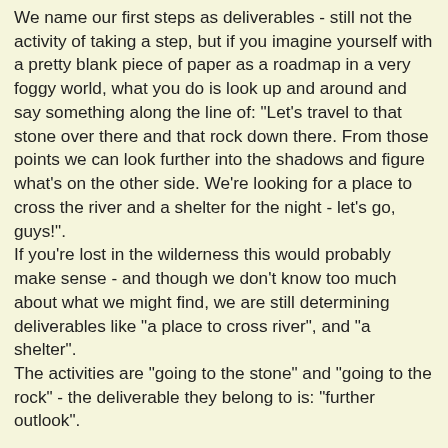We name our first steps as deliverables - still not the activity of taking a step, but if you imagine yourself with a pretty blank piece of paper as a roadmap in a very foggy world, what you do is look up and around and say something along the line of: "Let's travel to that stone over there and that rock down there. From those points we can look further into the shadows and figure what's on the other side. We're looking for a place to cross the river and a shelter for the night - let's go, guys!".
If you're lost in the wilderness this would probably make sense - and though we don't know too much about what we might find, we are still determining deliverables like "a place to cross river", and "a shelter".
The activities are "going to the stone" and "going to the rock" - the deliverable they belong to is: "further outlook".
Figuring that what we need is a shelter and a place to cross the river comes from your understanding of your situation - the "why you are here" question. You need some kind of overall goal to pursue, and the clearer the goal, the easier it is to create a plan. Often I've seen plans that are way too generic, almost text book-ish, and leaves me with only questions about what the entire purpose of the plan might